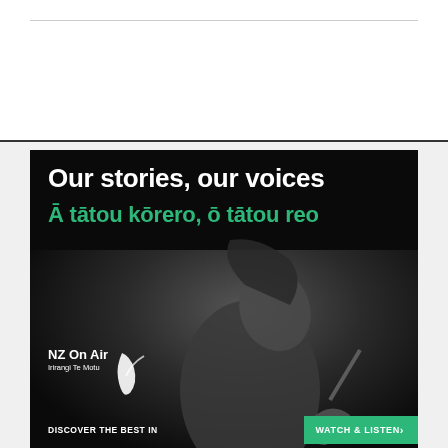[Figure (illustration): NZ On Air advertisement with black background showing a person with head tilted back, overlaid with text 'Our stories, our voices' in white and 'Ā tātou kōrero, ō tātou reo' in green. Bottom has NZ On Air Irirangi Te Motu logo with a checkmark, and a call-to-action strip reading 'DISCOVER THE BEST IN' with a green 'WATCH & LISTEN ›' button.]